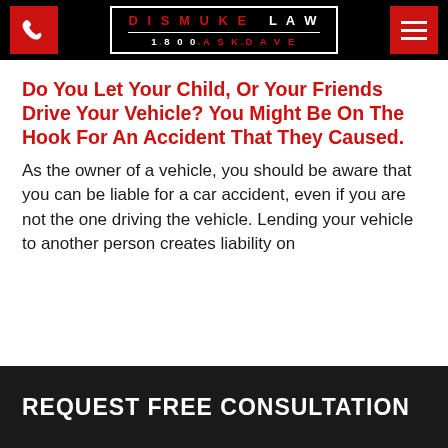DISMUKE LAW | 1.800.ASK.DAVE
Do You Let Your Child, Or Your Friends Drive Your Vehicle? You Might Be On The Hook For An Accident That They Caused.
As the owner of a vehicle, you should be aware that you can be liable for a car accident, even if you are not the one driving the vehicle. Lending your vehicle to another person creates liability on
REQUEST FREE CONSULTATION